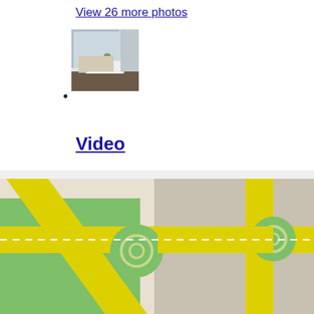View 26 more photos
[Figure (photo): Interior room photo showing a modern living/dining area with large windows, white furniture, and a table with a vase]
Video
https://m.youtube.com/watch?v=S90edDsxqeA
[Figure (map): Street map showing a roundabout intersection with yellow roads on green background, typical Google Maps style]